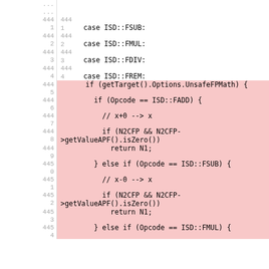[Figure (screenshot): Source code diff/view showing C++ code with line numbers. Lines 4441-4454 are shown on white background (case ISD::FSUB, ISD::FMUL, ISD::FDIV, ISD::FREM). Lines 4445-4454 are highlighted in pink/red background showing code: if (getTarget().Options.UnsafeFPMath) { if (Opcode == ISD::FADD) { // x+0 --> x if (N2CFP && N2CFP->getValueAPF().isZero()) return N1; } else if (Opcode == ISD::FSUB) { // x-0 --> x if (N2CFP && N2CFP->getValueAPF().isZero()) return N1; } else if (Opcode == ISD::FMUL) {]